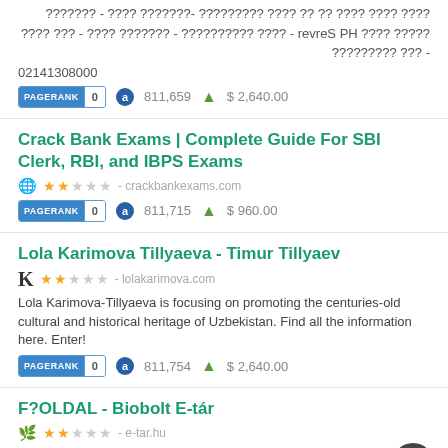???? ???? ???? ?? ?? ???? ????????? -??????? ???? - ??????? ????? ???? HP Server - ???? ?????????? - ??????? ???? - ??? ???? - ??? ????????? 02141308000
PAGERANK 0 | 811,659 | $ 2,640.00
Crack Bank Exams | Complete Guide For SBI Clerk, RBI, and IBPS Exams
2 stars - crackbankexams.com
PAGERANK 0 | 811,715 | $ 960.00
Lola Karimova Tillyaeva - Timur Tillyaev
2 stars - lolakarimova.com
Lola Karimova-Tillyaeva is focusing on promoting the centuries-old cultural and historical heritage of Uzbekistan. Find all the information here. Enter!
PAGERANK 0 | 811,754 | $ 2,640.00
F?OLDAL - Biobolt E-tár
2 stars - e-tar.hu
Biobolt e-tár - Bio és natúr kozmetikumok, tisztítószerek és élelmiszesek online boltja. Ingyones átvételel és folyamatos akciókkal